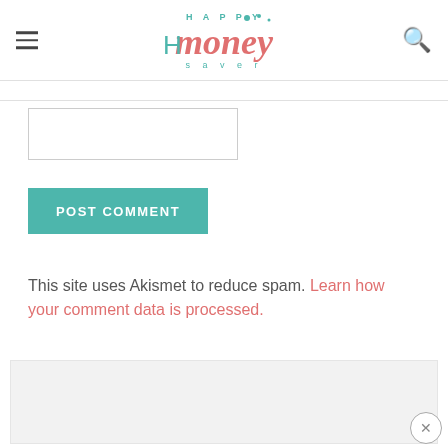Happy Money Saver
[Figure (screenshot): Input text field (empty)]
[Figure (screenshot): POST COMMENT button in teal/green color]
This site uses Akismet to reduce spam. Learn how your comment data is processed.
[Figure (screenshot): Gray advertisement/content box at bottom of page]